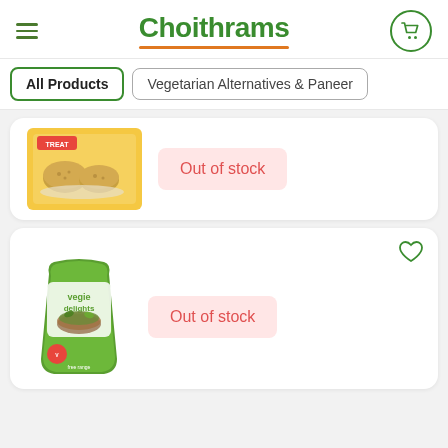Choithrams
All Products
Vegetarian Alternatives & Paneer
[Figure (photo): Yellow product box with breaded vegetarian patties/nuggets, Treat brand]
Out of stock
[Figure (photo): Vegie Delights brand green packaging bag with veggie burger/mince product]
Out of stock